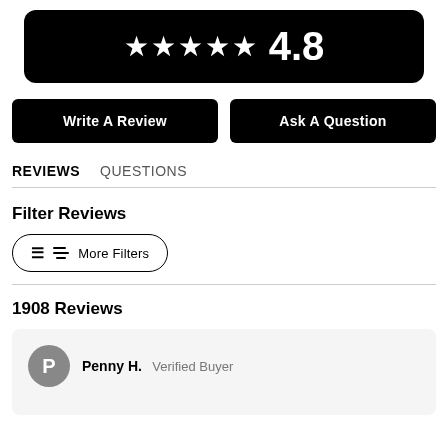[Figure (other): Rating banner with 5 stars and score 4.8 on black background]
Write A Review
Ask A Question
REVIEWS   QUESTIONS
Filter Reviews
≡+ More Filters
1908 Reviews
Penny H.  Verified Buyer